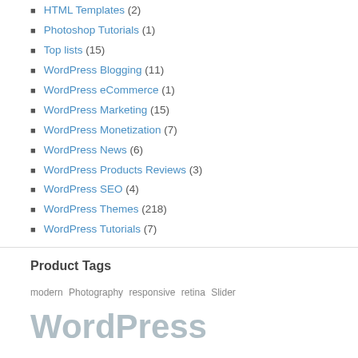HTML Templates (2)
Photoshop Tutorials (1)
Top lists (15)
WordPress Blogging (11)
WordPress eCommerce (1)
WordPress Marketing (15)
WordPress Monetization (7)
WordPress News (6)
WordPress Products Reviews (3)
WordPress SEO (4)
WordPress Themes (218)
WordPress Tutorials (7)
Product Tags
modern Photography responsive retina Slider
WordPress